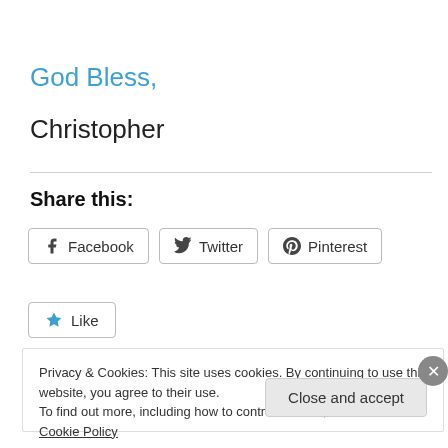God Bless,
Christopher
Share this:
[Figure (other): Social sharing buttons: Facebook, Twitter, Pinterest]
[Figure (other): Like button with star icon]
Privacy & Cookies: This site uses cookies. By continuing to use this website, you agree to their use. To find out more, including how to control cookies, see here: Cookie Policy
Close and accept